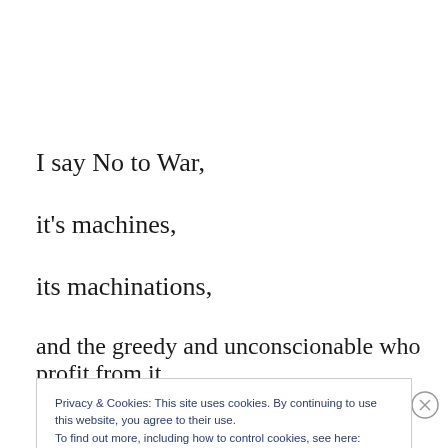I say No to War,
it's machines,
its machinations,
and the greedy and unconscionable who profit from it.
Privacy & Cookies: This site uses cookies. By continuing to use this website, you agree to their use.
To find out more, including how to control cookies, see here: Cookie Policy
Close and accept